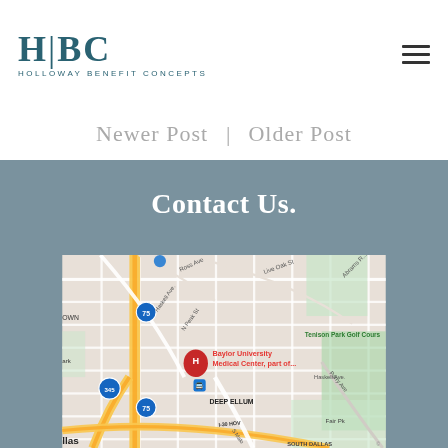HBC Holloway Benefit Concepts
Newer Post | Older Post
Contact Us.
[Figure (map): Google Maps screenshot showing the area around Baylor University Medical Center, Deep Ellum, and Tenison Park Golf Course in Dallas, Texas. Shows highways 75 and 345, streets including Ross Ave, Live Oak St, Haskell Ave, Abrams Rd, N Peak St, and Parry Ave. The red hospital marker (H) labeled Baylor University Medical Center part of... is visible in the center.]